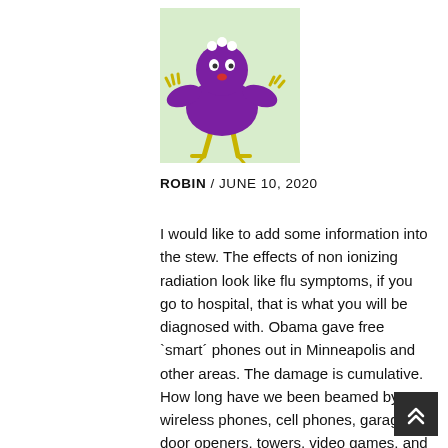[Figure (illustration): Cartoon purple bird-like creature with yellow limbs, standing with arms raised, against a light green background]
ROBIN / JUNE 10, 2020
I would like to add some information into the stew. The effects of non ionizing radiation look like flu symptoms, if you go to hospital, that is what you will be diagnosed with. Obama gave free `smart´ phones out in Minneapolis and other areas. The damage is cumulative. How long have we been beamed by our wireless phones, cell phones, garage door openers, towers, video games, and gadgets? Babies in utero whose mother use cell phones are born with smaller brains and ADHD. Muried health effects